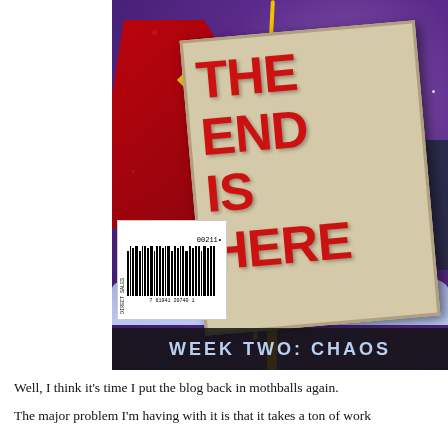[Figure (illustration): Comic book cover showing 'THE END IS HERE' on a sign held by a caped figure (Superman-like) in a snowy scene, with 'WEEK TWO: CHAOS' text at the bottom. Includes a barcode labeled 'DIRECT SALES'.]
Well, I think it's time I put the blog back in mothballs again.
The major problem I'm having with it is that it takes a ton of work